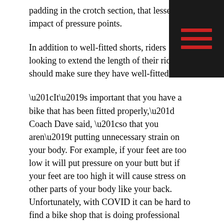padding in the crotch section, that lessen the impact of pressure points.
In addition to well-fitted shorts, riders looking to extend the length of their rides should make sure they have well-fitted bike.
“It’s important that you have a bike that has been fitted properly,” Coach Dave said, “so that you aren’t putting unnecessary strain on your body. For example, if your feet are too low it will put pressure on your butt but if your feet are too high it will cause stress on other parts of your body like your back. Unfortunately, with COVID it can be hard to find a bike shop that is doing professional bike fits but it’s worth your time to find one.”
(For more details about bike fit you can view our first blog HERE)